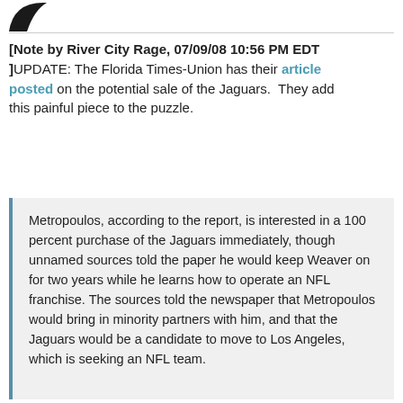[Figure (logo): Partial circular logo/icon visible at top left, dark colored]
[Note by River City Rage, 07/09/08 10:56 PM EDT ]UPDATE: The Florida Times-Union has their article posted on the potential sale of the Jaguars.  They add this painful piece to the puzzle.
Metropoulos, according to the report, is interested in a 100 percent purchase of the Jaguars immediately, though unnamed sources told the paper he would keep Weaver on for two years while he learns how to operate an NFL franchise. The sources told the newspaper that Metropoulos would bring in minority partners with him, and that the Jaguars would be a candidate to move to Los Angeles, which is seeking an NFL team.